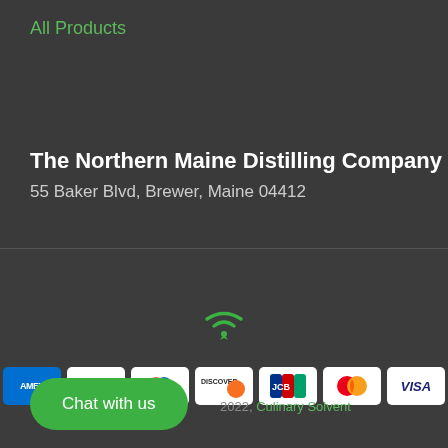All Products
The Northern Maine Distilling Company
55 Baker Blvd, Brewer, Maine 04412
[Figure (other): Green WiFi/RSS signal icon]
[Figure (other): Payment method icons: AMEX, Apple Pay, Diners Club, Discover, JCB, Mastercard, VISA]
Chat with us
2022, Culinary Solvent